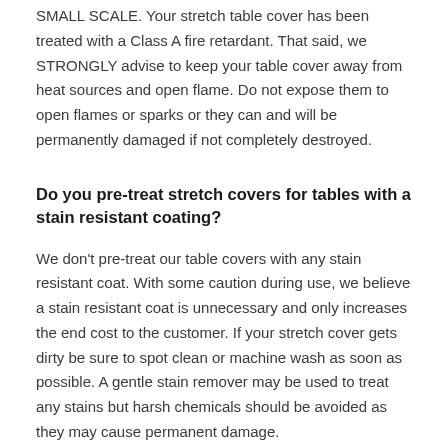SMALL SCALE. Your stretch table cover has been treated with a Class A fire retardant. That said, we STRONGLY advise to keep your table cover away from heat sources and open flame. Do not expose them to open flames or sparks or they can and will be permanently damaged if not completely destroyed.
Do you pre-treat stretch covers for tables with a stain resistant coating?
We don't pre-treat our table covers with any stain resistant coat. With some caution during use, we believe a stain resistant coat is unnecessary and only increases the end cost to the customer. If your stretch cover gets dirty be sure to spot clean or machine wash as soon as possible. A gentle stain remover may be used to treat any stains but harsh chemicals should be avoided as they may cause permanent damage.